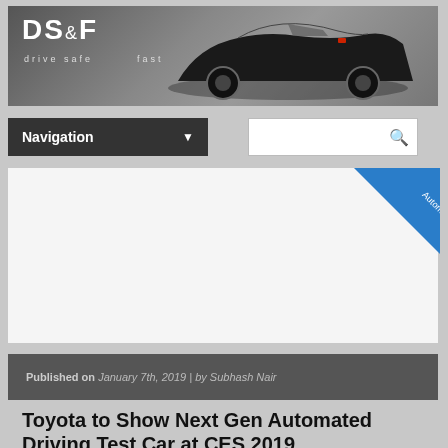[Figure (photo): DS&F (Drive Safe Fast) website header banner showing a black vintage convertible sports car on a gray gradient background with the logo text 'DS&F drive safe fast']
DS&F drive safe fast
Navigation ▼
Published on January 7th, 2019 | by Subhash Nair
Toyota to Show Next Gen Automated Driving Test Car at CES 2019